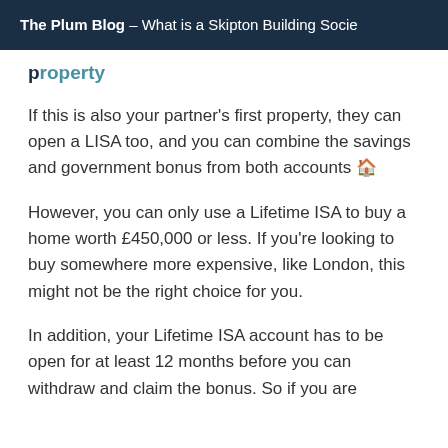The Plum Blog – What is a Skipton Building Socie
property
If this is also your partner's first property, they can open a LISA too, and you can combine the savings and government bonus from both accounts 🏠
However, you can only use a Lifetime ISA to buy a home worth £450,000 or less. If you're looking to buy somewhere more expensive, like London, this might not be the right choice for you.
In addition, your Lifetime ISA account has to be open for at least 12 months before you can withdraw and claim the bonus. So if you are